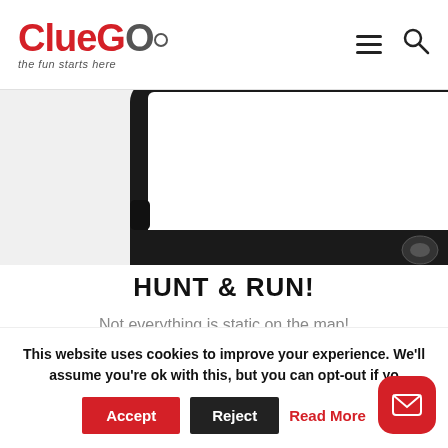ClueGo - the fun starts here
[Figure (photo): Bottom portion of a tablet/device with black casing showing a white screen with a 'Continue' button]
HUNT & RUN!
Not everything is static on the map!
Look out for Zombies that hunt you down or grab a
This website uses cookies to improve your experience. We'll assume you're ok with this, but you can opt-out if yo
Accept | Reject | Read More